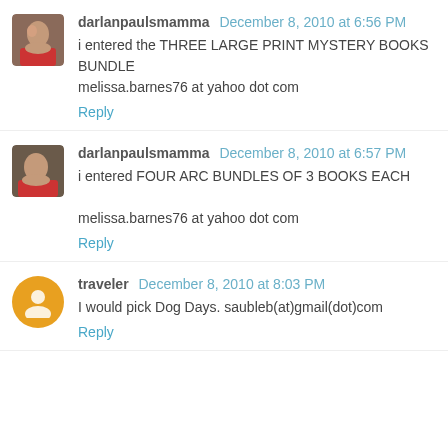darlanpaulsmamma December 8, 2010 at 6:56 PM
i entered the THREE LARGE PRINT MYSTERY BOOKS BUNDLE
melissa.barnes76 at yahoo dot com
Reply
darlanpaulsmamma December 8, 2010 at 6:57 PM
i entered FOUR ARC BUNDLES OF 3 BOOKS EACH
melissa.barnes76 at yahoo dot com
Reply
traveler December 8, 2010 at 8:03 PM
I would pick Dog Days. saubleb(at)gmail(dot)com
Reply